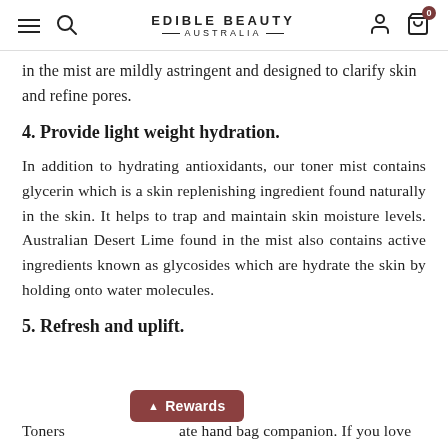EDIBLE BEAUTY AUSTRALIA
in the mist are mildly astringent and designed to clarify skin and refine pores.
4. Provide light weight hydration.
In addition to hydrating antioxidants, our toner mist contains glycerin which is a skin replenishing ingredient found naturally in the skin. It helps to trap and maintain skin moisture levels. Australian Desert Lime found in the mist also contains active ingredients known as glycosides which are hydrate the skin by holding onto water molecules.
5. Refresh and uplift.
Toners [Rewards] ate hand bag companion. If you love